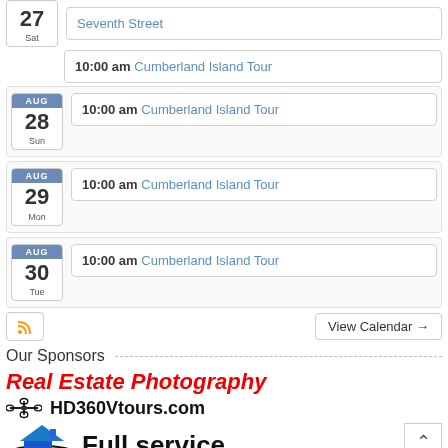27 Sat — Seventh Street
27 Sat — 10:00 am Cumberland Island Tour
AUG 28 Sun — 10:00 am Cumberland Island Tour
AUG 29 Mon — 10:00 am Cumberland Island Tour
AUG 30 Tue — 10:00 am Cumberland Island Tour
View Calendar →
Our Sponsors
[Figure (logo): Real Estate Photography HD360Vtours.com Full service logo with drone icon and blue house illustration]